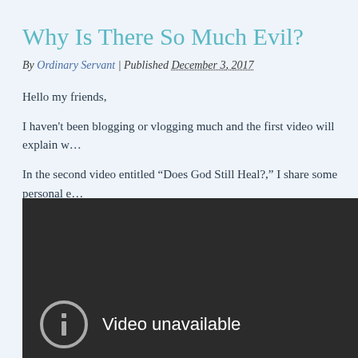Why Is There So Much Evil?
By Ordinary Servant | Published December 3, 2017
Hello my friends,
I haven't been blogging or vlogging much and the first video will explain w…
In the second video entitled “Does God Still Heal?,” I share some personal e…
Please feel free to subscribe to my channel and share your thoughts in the co…
God bless you and thanks for watching.
[Figure (screenshot): Embedded video player showing 'Video unavailable' message with a circle-i icon on a dark background]